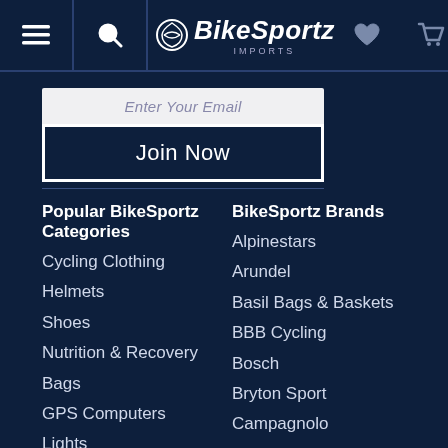BikeSportz Imports — Navigation bar with menu, search, logo, wishlist, cart
Enter Your Email
Join Now
Popular BikeSportz Categories
Cycling Clothing
Helmets
Shoes
Nutrition & Recovery
Bags
GPS Computers
Lights
BikeSportz Brands
Alpinestars
Arundel
Basil Bags & Baskets
BBB Cycling
Bosch
Bryton Sport
Campagnolo
Cyclus Tools